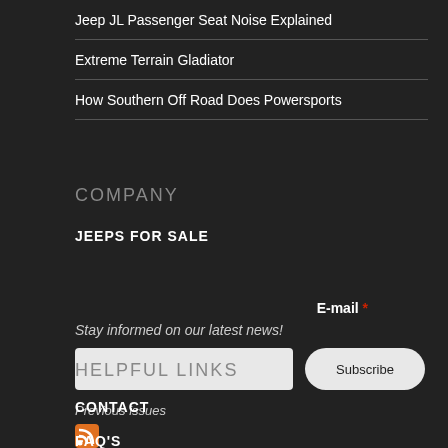Jeep JL Passenger Seat Noise Explained
Extreme Terrain Gladiator
How Southern Off Road Does Powersports
COMPANY
JEEPS FOR SALE
E-mail *
Stay informed on our latest news!
Subscribe
Previous issues
[Figure (illustration): RSS feed orange icon]
HELPFUL LINKS
CONTACT
FAQ'S